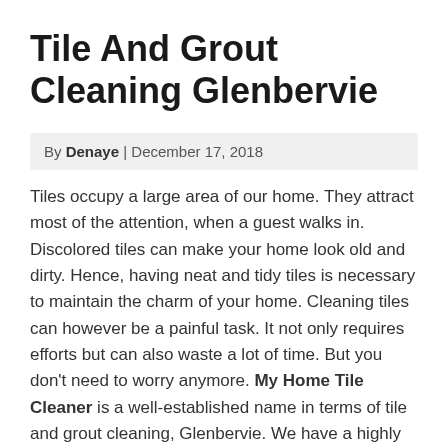Tile And Grout Cleaning Glenbervie
By Denaye | December 17, 2018
Tiles occupy a large area of our home. They attract most of the attention, when a guest walks in. Discolored tiles can make your home look old and dirty. Hence, having neat and tidy tiles is necessary to maintain the charm of your home. Cleaning tiles can however be a painful task. It not only requires efforts but can also waste a lot of time. But you don't need to worry anymore. My Home Tile Cleaner is a well-established name in terms of tile and grout cleaning, Glenbervie. We have a highly efficient team of cleaners who are certified and trained enough to take